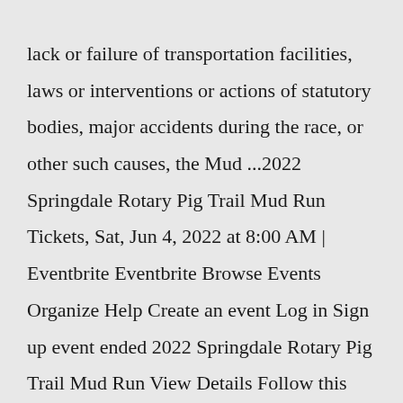lack or failure of transportation facilities, laws or interventions or actions of statutory bodies, major accidents during the race, or other such causes, the Mud ...2022 Springdale Rotary Pig Trail Mud Run Tickets, Sat, Jun 4, 2022 at 8:00 AM | Eventbrite Eventbrite Browse Events Organize Help Create an event Log in Sign up event ended 2022 Springdale Rotary Pig Trail Mud Run View Details Follow this